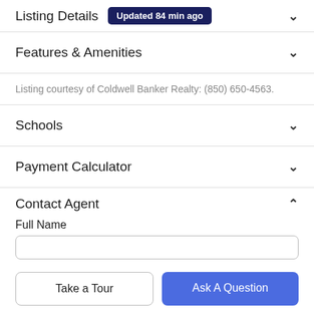Listing Details Updated 84 min ago
Features & Amenities
Listing courtesy of Coldwell Banker Realty: (850) 650-4563.
Schools
Payment Calculator
Contact Agent
Full Name
Take a Tour
Ask A Question